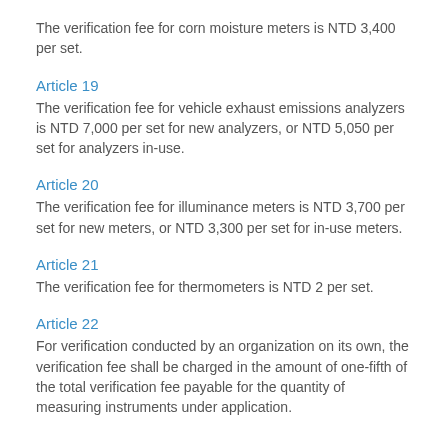The verification fee for corn moisture meters is NTD 3,400 per set.
Article 19
The verification fee for vehicle exhaust emissions analyzers is NTD 7,000 per set for new analyzers, or NTD 5,050 per set for analyzers in-use.
Article 20
The verification fee for illuminance meters is NTD 3,700 per set for new meters, or NTD 3,300 per set for in-use meters.
Article 21
The verification fee for thermometers is NTD 2 per set.
Article 22
For verification conducted by an organization on its own, the verification fee shall be charged in the amount of one-fifth of the total verification fee payable for the quantity of measuring instruments under application.